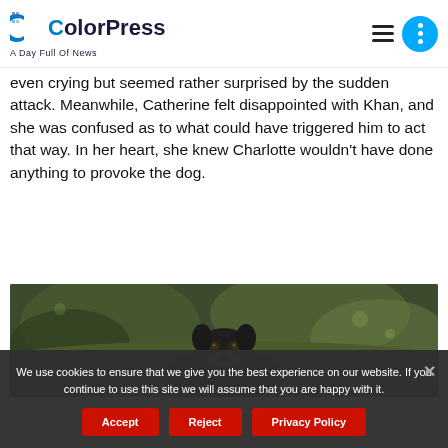ColorPress — A Day Full Of News
even crying but seemed rather surprised by the sudden attack. Meanwhile, Catherine felt disappointed with Khan, and she was confused as to what could have triggered him to act that way. In her heart, she knew Charlotte wouldn't have done anything to provoke the dog.
[Figure (photo): A dog (appears to be a Rottweiler or Doberman) peering over grass in an outdoor setting with blurred green background.]
We use cookies to ensure that we give you the best experience on our website. If you continue to use this site we will assume that you are happy with it.